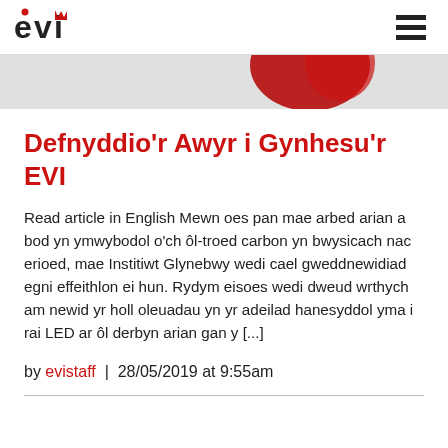evi (logo) | hamburger menu
[Figure (photo): Banner strip showing partial red image at top of article]
Defnyddio'r Awyr i Gynhesu'r EVI
Read article in English Mewn oes pan mae arbed arian a bod yn ymwybodol o'ch ôl-troed carbon yn bwysicach nac erioed, mae Institiwt Glynebwy wedi cael gweddnewidiad egni effeithlon ei hun. Rydym eisoes wedi dweud wrthych am newid yr holl oleuadau yn yr adeilad hanesyddol yma i rai LED ar ôl derbyn arian gan y [...]
by evistaff | 28/05/2019 at 9:55am